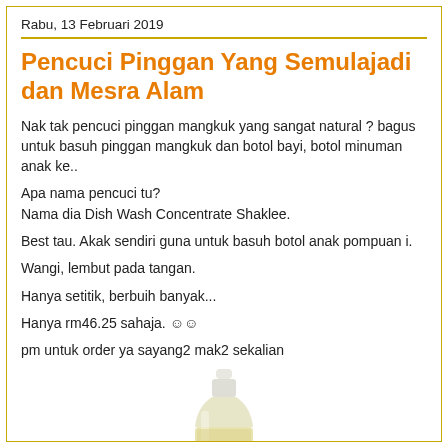Rabu, 13 Februari 2019
Pencuci Pinggan Yang Semulajadi dan Mesra Alam
Nak tak pencuci pinggan mangkuk yang sangat natural ? bagus untuk basuh pinggan mangkuk dan botol bayi, botol minuman anak ke..
Apa nama pencuci tu?
Nama dia Dish Wash Concentrate Shaklee.
Best tau. Akak sendiri guna untuk basuh botol anak pompuan i.
Wangi, lembut pada tangan.
Hanya setitik, berbuih banyak...
Hanya rm46.25 sahaja. 😊😊
pm untuk order ya sayang2 mak2 sekalian
[Figure (photo): A bottle of Shaklee Dish Wash Concentrate product, yellowish liquid, viewed from the side with a white/frosted cap at the top.]